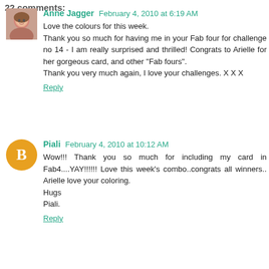22 comments:
Anne Jagger February 4, 2010 at 6:19 AM
Love the colours for this week.
Thank you so much for having me in your Fab four for challenge no 14 - I am really surprised and thrilled! Congrats to Arielle for her gorgeous card, and other "Fab fours".
Thank you very much again, I love your challenges. X X X
Reply
Piali February 4, 2010 at 10:12 AM
Wow!!! Thank you so much for including my card in Fab4....YAY!!!!!! Love this week's combo..congrats all winners.. Arielle love your coloring.
Hugs
Piali.
Reply